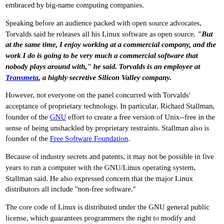embraced by big-name computing companies.
Speaking before an audience packed with open source advocates, Torvalds said he releases all his Linux software as open source. "But at the same time, I enjoy working at a commercial company, and the work I do is going to be very much a commercial software that nobody plays around with," he said. Torvalds is an employee at Transmeta, a highly secretive Silicon Valley company.
However, not everyone on the panel concurred with Torvalds' acceptance of proprietary technology. In particular, Richard Stallman, founder of the GNU effort to create a free version of Unix--free in the sense of being unshackled by proprietary restraints. Stallman also is founder of the Free Software Foundation.
Because of industry secrets and patents, it may not be possible in five years to run a computer with the GNU/Linux operating system, Stallman said. He also expressed concern that the major Linux distributors all include "non-free software."
The core code of Linux is distributed under the GNU general public license, which guarantees programmers the right to modify and redistribute the software however they want, so long as their changes also are distributed under the general public license.
Stallman and Torvalds came somewhat closer to agreement in their mutual desire for changes to loosen patent law in the